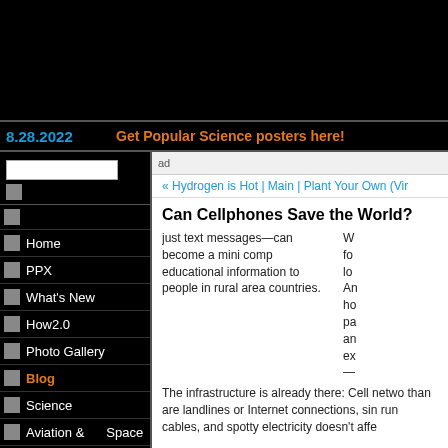8.28.2022   Get Popular Science posters here!
Home
PPX
What's New
How2.0
Photo Gallery
Blog
Science
Aviation & Space
« Hydrogen is Hot | Main | Plant Your Own (Vir
Can Cellphones Save the World?
W... fo... lo... An... ho... pa... an... ex...
just text messages—can become a mini comp educational information to people in rural area countries.
The infrastructure is already there: Cell netwo than are landlines or Internet connections, sin run cables, and spotty electricity doesn't affe